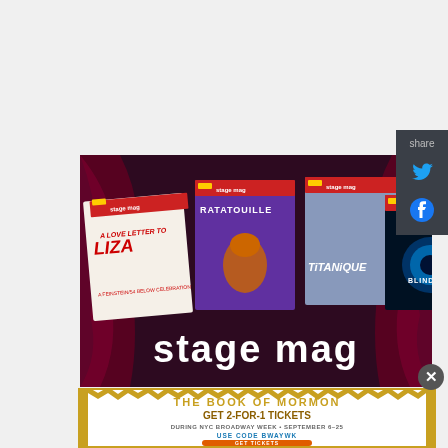[Figure (advertisement): Stage Mag advertisement showing musical playbills: A Love Letter to Liza, Ratatouille, Titanique, Blindness, with stage mag branding and curtain background]
[Figure (advertisement): The Book of Mormon advertisement: GET 2-FOR-1 TICKETS during NYC Broadway Week September 6-25, use code BWAYWK, GET TICKETS button]
[Figure (infographic): Share bar with Twitter and Facebook icons on dark background]